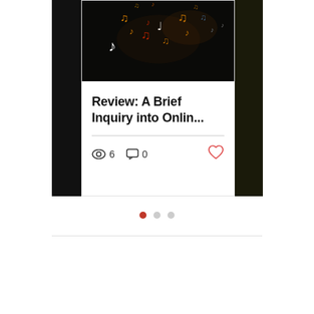[Figure (photo): Night photo with blurry illuminated music note bokeh lights in orange, red, and white against a dark background]
Review: A Brief Inquiry into Onlin...
6 views  0 comments  Like post